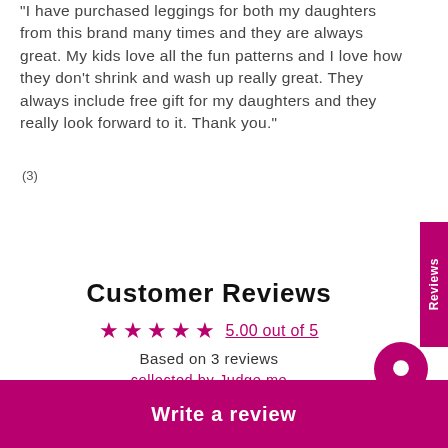"I have purchased leggings for both my daughters from this brand many times and they are always great.  My kids love all the fun patterns and I love how they don't shrink and wash up really great. They always include free gift for my daughters and they really look forward to it.  Thank you."
(3)
Share Girls Kids Red Rose Floral Leggings
Customer Reviews
5.00 out of 5
Based on 3 reviews
collected by Judge.me
Write a review